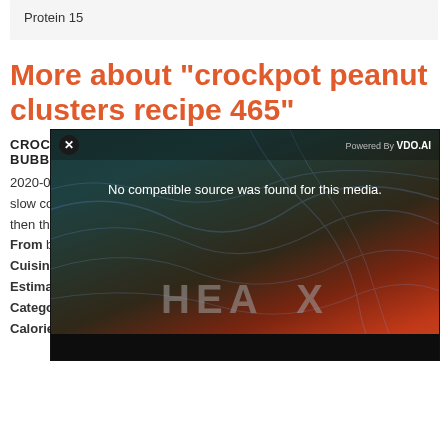| Protein 15 |
More about "crockpot peanut clusters recipe 465"
CROCKPOT PEANUT CLUSTERS
BUBBA
2020-07-... with the ... slow coo... then the...
From bu...
Cuisine ...
Estimate...
Categor...
Calories: ... per serving
[Figure (screenshot): Video player overlay showing 'No compatible source was found for this media.' with HEA X text on a dark topographic background with VDO.AI branding. Close button visible.]